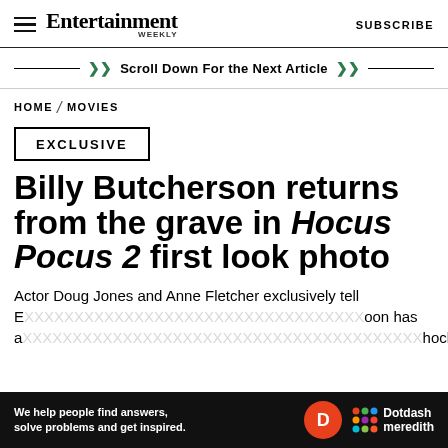Entertainment Weekly — SUBSCRIBE
Scroll Down For the Next Article
HOME / MOVIES
EXCLUSIVE
Billy Butcherson returns from the grave in Hocus Pocus 2 first look photo
Actor Doug Jones and Anne Fletcher exclusively tell EW about the sequel. Dotdash meredith. We help people find answers, solve problems and get inspired.